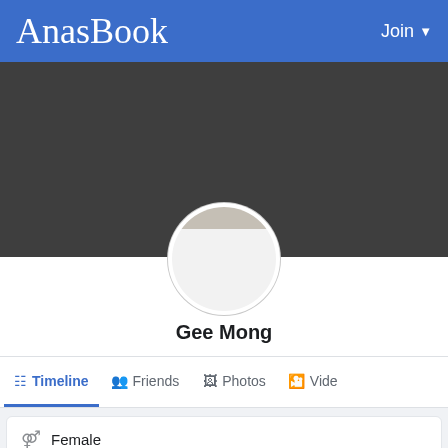AnasBook  Join
[Figure (screenshot): Cover photo area - dark gray background, profile picture circle overlay at bottom center showing a partially visible white/gray default avatar]
Gee Mong
Timeline  Friends  Photos  Vide
Female